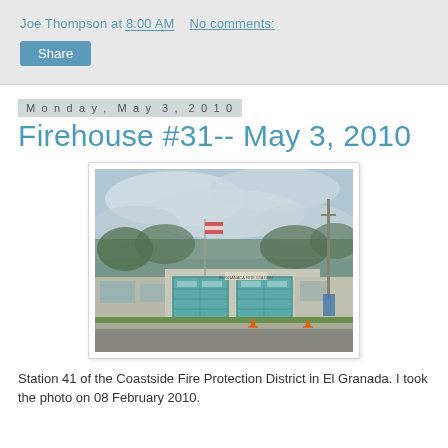Joe Thompson at 8:00 AM   No comments:
Share
Monday, May 3, 2010
Firehouse #31-- May 3, 2010
[Figure (photo): Photo of a fire station building (Station 41 of the Coastside Fire Protection District in El Granada) with two teal/blue garage doors, a flagpole, utility pole, and orange traffic cones in the foreground. Overcast sky and trees in background.]
Station 41 of the Coastside Fire Protection District in El Granada. I took the photo on 08 February 2010.